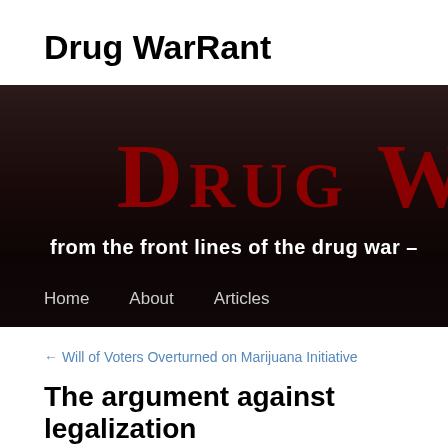Drug WarRant
[Figure (screenshot): Website banner for Drug WarRant blog showing dark red text 'Drug W...' on dark background with subtitle 'from the front lines of the drug war –' and navigation links: Home, About, Articles]
← Will of Voters Overturned on Marijuana Initiative
The argument against legalization